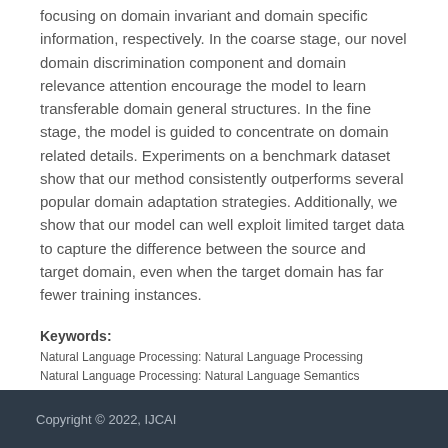different and discrete treatments for the two stages, with focusing on domain invariant and domain specific information, respectively. In the coarse stage, our novel domain discrimination component and domain relevance attention encourage the model to learn transferable domain general structures. In the fine stage, the model is guided to concentrate on domain related details. Experiments on a benchmark dataset show that our method consistently outperforms several popular domain adaptation strategies. Additionally, we show that our model can well exploit limited target data to capture the difference between the source and target domain, even when the target domain has far fewer training instances.
Keywords:
Natural Language Processing: Natural Language Processing
Natural Language Processing: Natural Language Semantics
Copyright © 2022, IJCAI